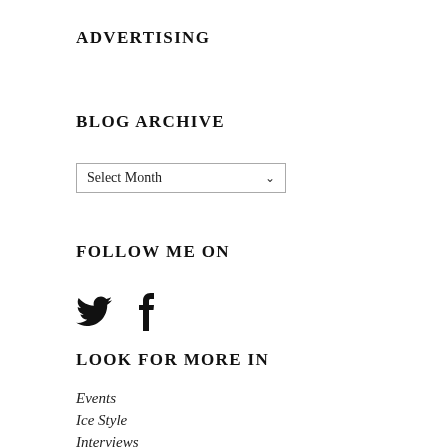ADVERTISING
BLOG ARCHIVE
Select Month
FOLLOW ME ON
[Figure (illustration): Twitter bird icon and Facebook 'f' icon side by side]
LOOK FOR MORE IN
Events
Ice Style
Interviews
News